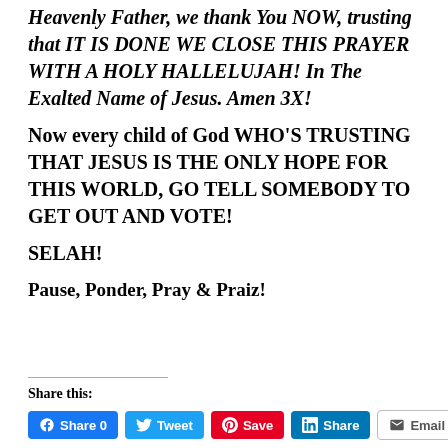Heavenly Father, we thank You NOW, trusting that IT IS DONE WE CLOSE THIS PRAYER WITH A HOLY HALLELUJAH! In The Exalted Name of Jesus. Amen 3X!
Now every child of God WHO'S TRUSTING THAT JESUS IS THE ONLY HOPE FOR THIS WORLD, GO TELL SOMEBODY TO GET OUT AND VOTE!
SELAH!
Pause, Ponder, Pray & Praiz!
Share this:
Share 0  Tweet  Save  Share  Email